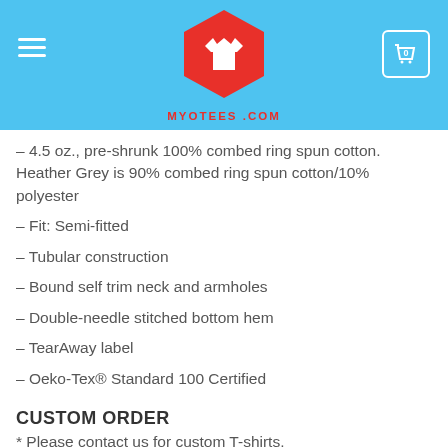MYOTEES.COM header with logo and cart
– 4.5 oz., pre-shrunk 100% combed ring spun cotton. Heather Grey is 90% combed ring spun cotton/10% polyester
– Fit: Semi-fitted
– Tubular construction
– Bound self trim neck and armholes
– Double-needle stitched bottom hem
– TearAway label
– Oeko-Tex® Standard 100 Certified
CUSTOM ORDER
* Please contact us for custom T-shirts.
WASHING INSTRUCTIONS
* Machine wash separately (inside out, DO NOT USE